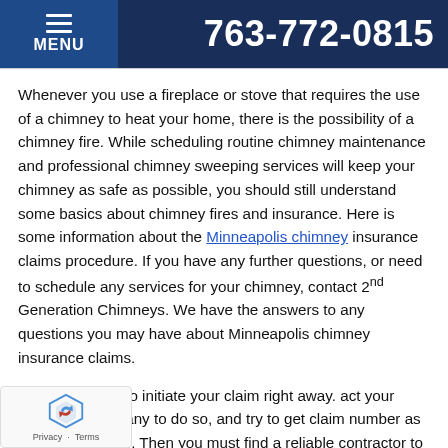MENU   763-772-0815
Whenever you use a fireplace or stove that requires the use of a chimney to heat your home, there is the possibility of a chimney fire. While scheduling routine chimney maintenance and professional chimney sweeping services will keep your chimney as safe as possible, you should still understand some basics about chimney fires and insurance. Here is some information about the Minneapolis chimney insurance claims procedure. If you have any further questions, or need to schedule any services for your chimney, contact 2nd Generation Chimneys. We have the answers to any questions you may have about Minneapolis chimney insurance claims.
of all, you need to initiate your claim right away. act your insurance company to do so, and try to get claim number as soon as possible. Then you must find a reliable contractor to work with. This contractor